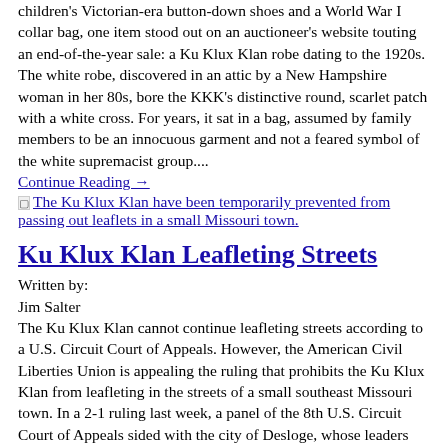children's Victorian-era button-down shoes and a World War I collar bag, one item stood out on an auctioneer's website touting an end-of-the-year sale: a Ku Klux Klan robe dating to the 1920s. The white robe, discovered in an attic by a New Hampshire woman in her 80s, bore the KKK's distinctive round, scarlet patch with a white cross. For years, it sat in a bag, assumed by family members to be an innocuous garment and not a feared symbol of the white supremacist group....
Continue Reading →
[Figure (other): Broken image placeholder with link text: The Ku Klux Klan have been temporarily prevented from passing out leaflets in a small Missouri town.]
Ku Klux Klan Leafleting Streets
Written by:
Jim Salter
The Ku Klux Klan cannot continue leafleting streets according to a U.S. Circuit Court of Appeals. However, the American Civil Liberties Union is appealing the ruling that prohibits the Ku Klux Klan from leafleting in the streets of a small southeast Missouri town. In a 2-1 ruling last week, a panel of the 8th U.S. Circuit Court of Appeals sided with the city of Desloge, whose leaders argued the ordinance is meant to protect public safety by keeping people out of the street, not suppress free speech. ACLU attorney